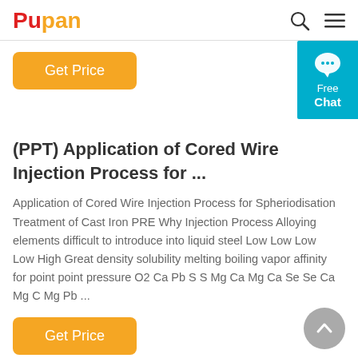Pupan
Get Price
[Figure (other): Free Chat widget — teal background with speech bubble icon and 'Free Chat' label]
(PPT) Application of Cored Wire Injection Process for ...
Application of Cored Wire Injection Process for Spheriodisation Treatment of Cast Iron PRE Why Injection Process Alloying elements difficult to introduce into liquid steel Low Low Low Low High Great density solubility melting boiling vapor affinity for point point pressure O2 Ca Pb S S Mg Ca Mg Ca Se Se Ca Mg C Mg Pb ...
Get Price